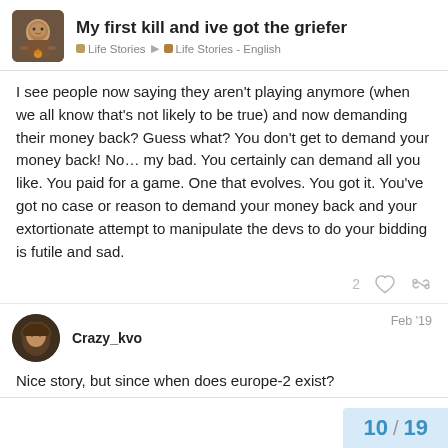My first kill and ive got the griefer | Life Stories | Life Stories - English
I see people now saying they aren't playing anymore (when we all know that's not likely to be true) and now demanding their money back? Guess what? You don't get to demand your money back! No… my bad. You certainly can demand all you like. You paid for a game. One that evolves. You got it. You've got no case or reason to demand your money back and your extortionate attempt to manipulate the devs to do your bidding is futile and sad.
Crazy_kvo   Feb '19
Nice story, but since when does europe-2 exist?
10 / 19